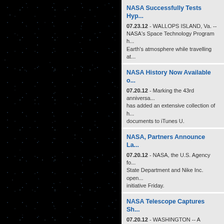[Figure (photo): Dark starfield/space background image on the left half of the page]
NASA Successfully Tests Hyp...
07.23.12 - WALLOPS ISLAND, Va. -- NASA's Space Technology Program h... Earth's atmosphere while travelling at...
NASA History Now Available o...
07.20.12 - Marking the 43rd anniversa... has added an extensive collection of h... documents to iTunes U.
NASA, Partners Announce La...
07.20.12 - NASA, the U.S. Agency fo... State Department and Nike Inc. open... initiative Friday.
NASA Telescope Captures Sh...
07.20.12 - WASHINGTON -- A telesco... sounding rocket has captured the hig... sun's million-degree atmosphere calle... help scientists better understand the h... impacts on Earth's space environmen...